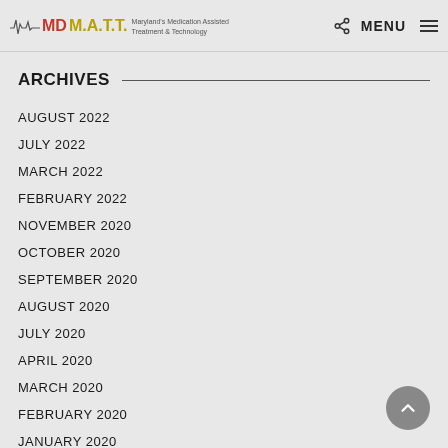MD M.A.T.T. — Maryland's Medication Assisted Treatment & Technology — MENU
ARCHIVES
AUGUST 2022
JULY 2022
MARCH 2022
FEBRUARY 2022
NOVEMBER 2020
OCTOBER 2020
SEPTEMBER 2020
AUGUST 2020
JULY 2020
APRIL 2020
MARCH 2020
FEBRUARY 2020
JANUARY 2020